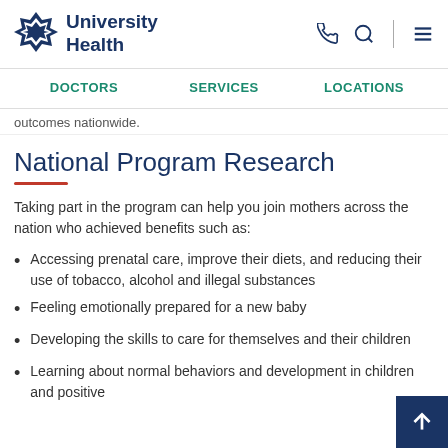[Figure (logo): University Health logo with geometric star icon and bold text]
DOCTORS   SERVICES   LOCATIONS
outcomes nationwide.
National Program Research
Taking part in the program can help you join mothers across the nation who achieved benefits such as:
Accessing prenatal care, improve their diets, and reducing their use of tobacco, alcohol and illegal substances
Feeling emotionally prepared for a new baby
Developing the skills to care for themselves and their children
Learning about normal behaviors and development in children and positive